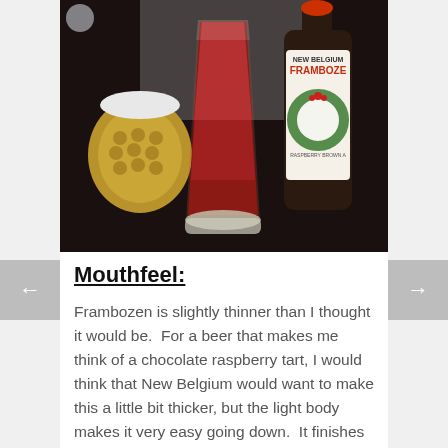[Figure (photo): Photo of a glass of dark red/amber beer (New Belgium Frambozen raspberry brown ale) poured into a tall clear glass, beside the bottle with a holiday wreath label. A gold decorative ornament mug is visible on the left. Dark background surface.]
Mouthfeel:
Frambozen is slightly thinner than I thought it would be.  For a beer that makes me think of a chocolate raspberry tart, I would think that New Belgium would want to make this a little bit thicker, but the light body makes it very easy going down.  It finishes a lot drier than I expected, too, but that's a twist I actually enjoy.